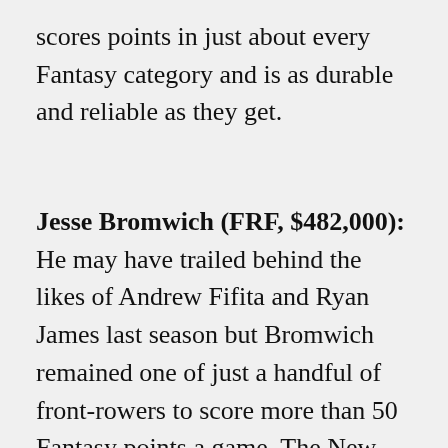scores points in just about every Fantasy category and is as durable and reliable as they get.
Jesse Bromwich (FRF, $482,000): He may have trailed behind the likes of Andrew Fifita and Ryan James last season but Bromwich remained one of just a handful of front-rowers to score more than 50 Fantasy points a game. The New Zealand skipper didn't miss a match either. He's a little cheaper than the top-priced props and